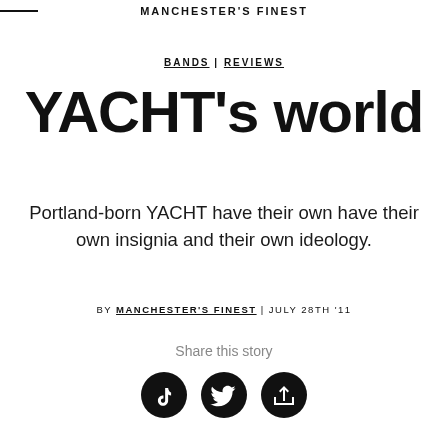MANCHESTER'S FINEST
BANDS | REVIEWS
YACHT's world
Portland-born YACHT have their own have their own insignia and their own ideology.
BY MANCHESTER'S FINEST | JULY 28TH '11
Share this story